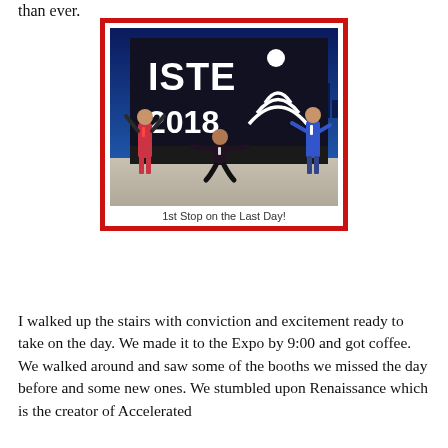than ever.
[Figure (photo): Three women posing in front of an ISTE 2018 banner/sign. Two women stand on either side with arms raised, and one woman crouches in the middle with arms spread wide. The banner has a blue background with the ISTE 2018 logo and city skyline.]
1st Stop on the Last Day!
I walked up the stairs with conviction and excitement ready to take on the day. We made it to the Expo by 9:00 and got coffee. We walked around and saw some of the booths we missed the day before and some new ones. We stumbled upon Renaissance which is the creator of Accelerated